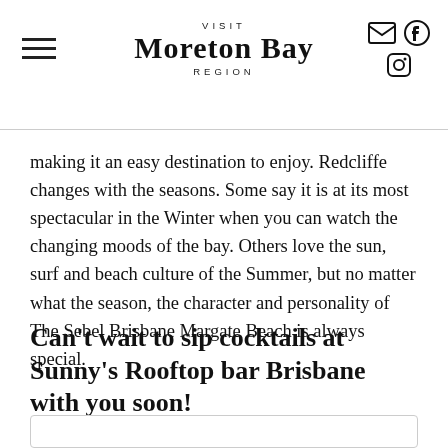VISIT Moreton Bay REGION
making it an easy destination to enjoy. Redcliffe changes with the seasons. Some say it is at its most spectacular in the Winter when you can watch the changing moods of the bay. Others love the sun, surf and beach culture of the Summer, but no matter what the season, the character and personality of The Sebel Brisbane Margate Beach is always special.
Can't wait to sip cocktails at Sunny's Rooftop bar Brisbane with you soon!
[Figure (other): Partial view of a card or image box at the bottom of the page, partially cut off]